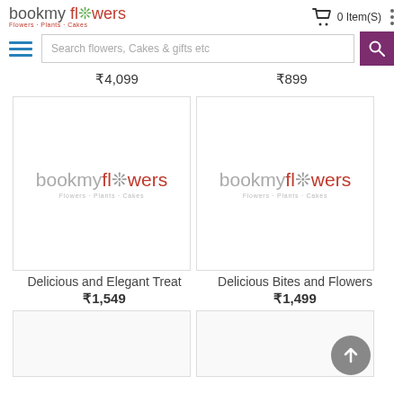bookmyflowers — Flowers · Plants · Cakes — 0 Item(S)
Search flowers, Cakes & gifts etc
₹4,099   ₹899
[Figure (logo): bookmyflowers logo placeholder image for product 'Delicious and Elegant Treat']
[Figure (logo): bookmyflowers logo placeholder image for product 'Delicious Bites and Flowers']
Delicious and Elegant Treat
₹1,549
Delicious Bites and Flowers
₹1,499
[Figure (photo): Bottom left product image placeholder]
[Figure (photo): Bottom right product image placeholder with scroll-to-top button overlay]